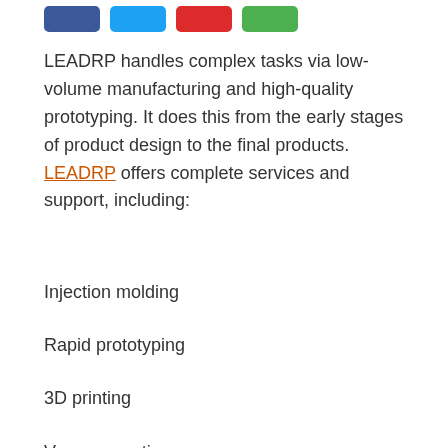[Figure (other): Row of four colored social share buttons: blue, light blue, red, green]
LEADRP handles complex tasks via low-volume manufacturing and high-quality prototyping. It does this from the early stages of product design to the final products. LEADRP offers complete services and support, including:
Injection molding
Rapid prototyping
3D printing
Vacuum casting
Surface finishing